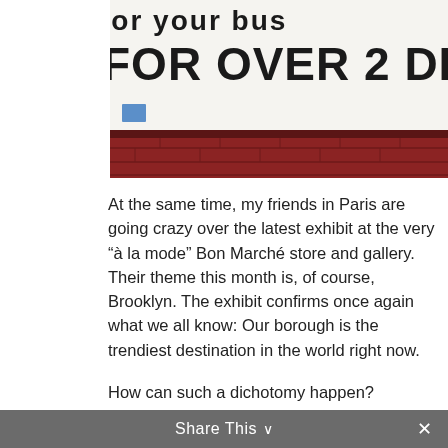[Figure (photo): Photo of a storefront sign with large bold black text on white background reading 'FOR OVER 2 DECAD' (cut off), with a partial line above reading 'for your bus', mounted on a dark red brick wall. A small blue sticker is visible below.]
At the same time, my friends in Paris are going crazy over the latest exhibit at the very “à la mode” Bon Marché store and gallery. Their theme this month is, of course, Brooklyn. The exhibit confirms once again what we all know: Our borough is the trendiest destination in the world right now.
How can such a dichotomy happen?
And more importantly, what does it really mean for those living in Brooklyn, and then, for those beyond this microcosm?
Share This